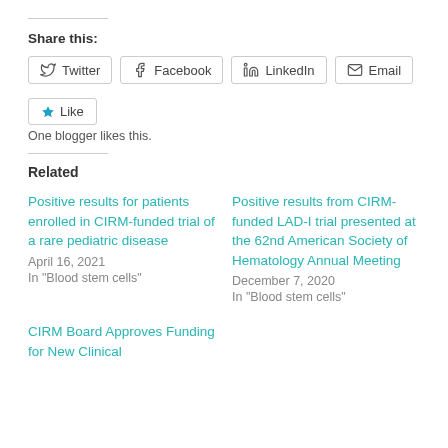Share this:
Twitter  Facebook  LinkedIn  Email
Like  One blogger likes this.
Related
Positive results for patients enrolled in CIRM-funded trial of a rare pediatric disease
April 16, 2021
In "Blood stem cells"
Positive results from CIRM-funded LAD-I trial presented at the 62nd American Society of Hematology Annual Meeting
December 7, 2020
In "Blood stem cells"
CIRM Board Approves Funding for New Clinical